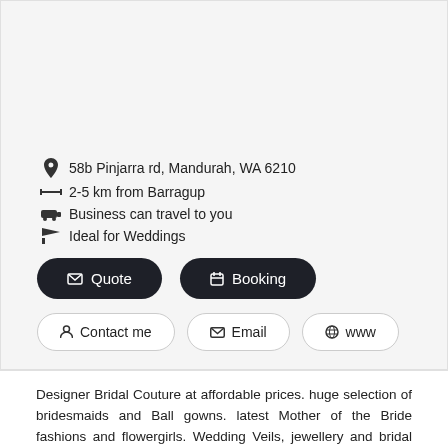58b Pinjarra rd, Mandurah, WA 6210
2-5 km from Barragup
Business can travel to you
Ideal for Weddings
Quote
Booking
Contact me
Email
www
Designer Bridal Couture at affordable prices. huge selection of bridesmaids and Ball gowns. latest Mother of the Bride fashions and flowergirls. Wedding Veils, jewellery and bridal accessories. helpful and